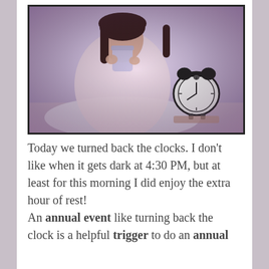[Figure (photo): A young woman with dark hair drinking from a large cup/mug, wearing a light pink robe or pajamas, sitting in bed with white pillows. An old-fashioned black alarm clock sits on a surface to her right. The image has a soft purple-pink toned filter with a black border.]
Today we turned back the clocks. I don't like when it gets dark at 4:30 PM, but at least for this morning I did enjoy the extra hour of rest! An annual event like turning back the clock is a helpful trigger to do an annual